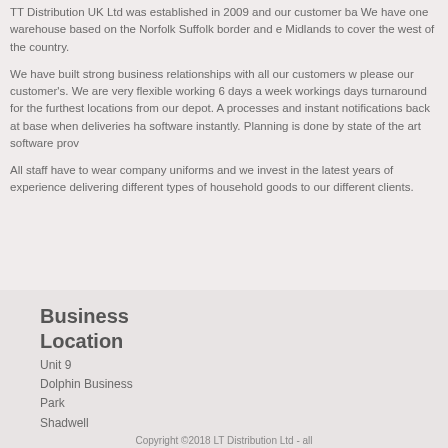T T Distribution UK Ltd was established in 2009 and our customer ba We have one warehouse based on the Norfolk Suffolk border and e Midlands to cover the west of the country.
We have built strong business relationships with all our customers w please our customer's. We are very flexible working 6 days a week workings days turnaround for the furthest locations from our depot. A processes and instant notifications back at base when deliveries ha software instantly. Planning is done by state of the art software prov
All staff have to wear company uniforms and we invest in the latest years of experience delivering different types of household goods to our different clients.
Business Location
Unit 9
Dolphin Business Park
Shadwell
Norfolk
IP24 2RY
Copyright ©2018 LT Distribution Ltd - all